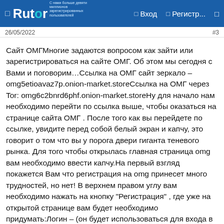Rutor — Вход — Регистр...
26/05/2022   #3
Сайт ОМГМногие задаются вопросом как зайти или зарегистрироваться на сайте ОМГ. Об этом мы сегодня с Вами и поговорим…Ссылка на ОМГ сайт зеркало – omg5etioavaz7p.onion-market.storeСсылка на ОМГ через Tor: omg6c2bnrd6phf.onion-market.storeНу для начало нам необходимо перейти по ссылка выше, чтобы оказаться на странице сайта ОМГ . После того как вы перейдете по ссылке, увидите перед собой белый экран и капчу, это говорит о том что вы у порога двери гиганта теневого рынка. Для того чтобы открылась главная страница omg вам необходимо ввести капчу.На первый взгляд покажется Вам что регистрация на omg принесет много трудностей, но нет! В верхнем правом углу вам необходимо нажать на кнопку "Регистрация" , где уже на открытой странице вам будет необходимо придумать:Логин – (он будет использоваться для входа в личный кабинет).Отображаемое имя – (Это ваш никнейм, он должен отличаться от Логина, его буду видеть продавцы).Пароль – придумайте надежный пароль и...